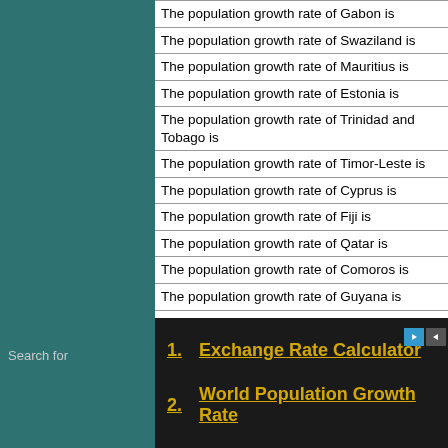The population growth rate of Gabon is
The population growth rate of Swaziland is
The population growth rate of Mauritius is
The population growth rate of Estonia is
The population growth rate of Trinidad and Tobago is
The population growth rate of Timor-Leste is
The population growth rate of Cyprus is
The population growth rate of Fiji is
The population growth rate of Qatar is
The population growth rate of Comoros is
The population growth rate of Guyana is
The population growth rate of Djibouti is
The population growth rate of Bahrain is
The population growth rate of Bhutan is
The population growth rate of Montenegro is
The population growth rate of Equatorial Guinea is
The population growth rate of The Solomon Islands is
The population growth rate of Macau is
The population growth rate of Cape Verde is
The population growth rate of Luxembourg is
The population growth rate of Western Sahara is
Search for
1. Exchange Rate Calculator
2. World Population Growth Rate